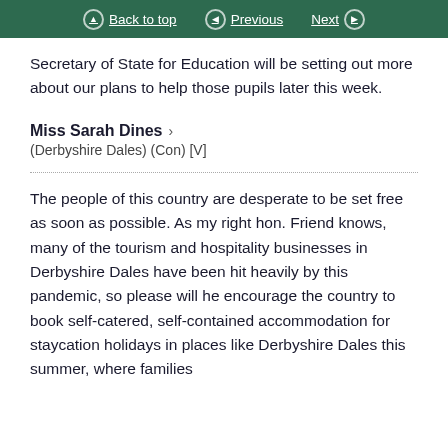Back to top | Previous | Next
Secretary of State for Education will be setting out more about our plans to help those pupils later this week.
Miss Sarah Dines > (Derbyshire Dales) (Con) [V]
The people of this country are desperate to be set free as soon as possible. As my right hon. Friend knows, many of the tourism and hospitality businesses in Derbyshire Dales have been hit heavily by this pandemic, so please will he encourage the country to book self-catered, self-contained accommodation for staycation holidays in places like Derbyshire Dales this summer, where families